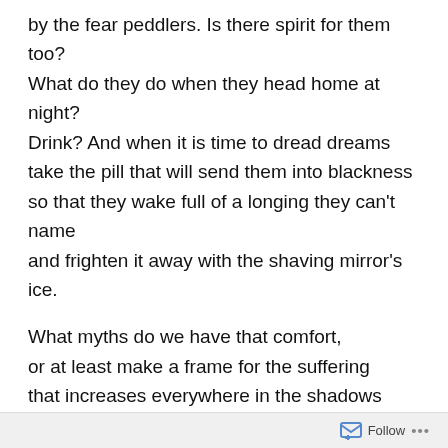by the fear peddlers. Is there spirit for them too?
What do they do when they head home at night?
Drink? And when it is time to dread dreams
take the pill that will send them into blackness
so that they wake full of a longing they can't name
and frighten it away with the shaving mirror's ice.

What myths do we have that comfort,
or at least make a frame for the suffering
that increases everywhere in the shadows
of the quartz towers, a frame gilded,
and filigreed with cherubs? Or stark and cold
to offset the alcoholic pink of the gaper's cheeks?
What myth, and where is love in this,
beyond the predictable snort of those
whose hearts have become leathered
Follow